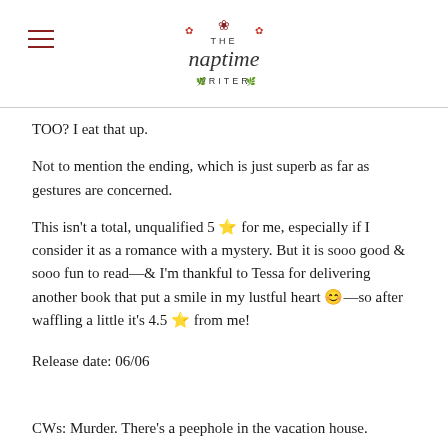THE naptime WRITER
TOO? I eat that up.
Not to mention the ending, which is just superb as far as gestures are concerned.
This isn't a total, unqualified 5 ⭐ for me, especially if I consider it as a romance with a mystery. But it is sooo good & sooo fun to read—& I'm thankful to Tessa for delivering another book that put a smile in my lustful heart 😊—so after waffling a little it's 4.5 ⭐ from me!
Release date: 06/06
CWs: Murder. There's a peephole in the vacation house.